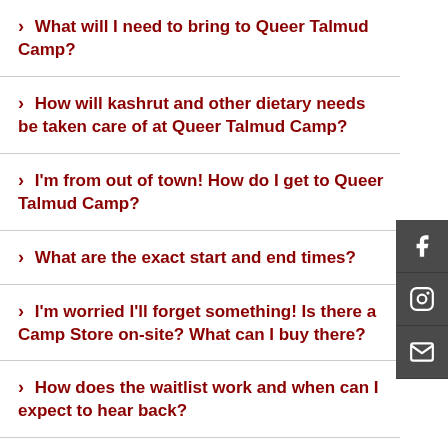> What will I need to bring to Queer Talmud Camp?
> How will kashrut and other dietary needs be taken care of at Queer Talmud Camp?
> I'm from out of town! How do I get to Queer Talmud Camp?
> What are the exact start and end times?
> I'm worried I'll forget something! Is there a Camp Store on-site? What can I buy there?
> How does the waitlist work and when can I expect to hear back?
> What is the refund policy?